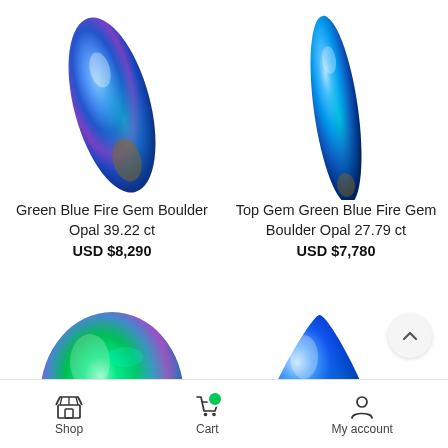[Figure (photo): Blue-green fire boulder opal gemstone, top view, elongated leaf shape with vivid blue and purple iridescence]
[Figure (photo): Blue-green fire boulder opal gemstone, top view, narrow elongated shape with vivid blue and teal iridescence]
Green Blue Fire Gem Boulder Opal 39.22 ct
USD $8,290
Top Gem Green Blue Fire Gem Boulder Opal 27.79 ct
USD $7,780
[Figure (photo): Large round-ish boulder opal with vivid green, blue, purple iridescence on white background]
[Figure (photo): Blue triangular/teardrop boulder opal with vivid blue and green iridescence on white background]
Shop   Cart   My account